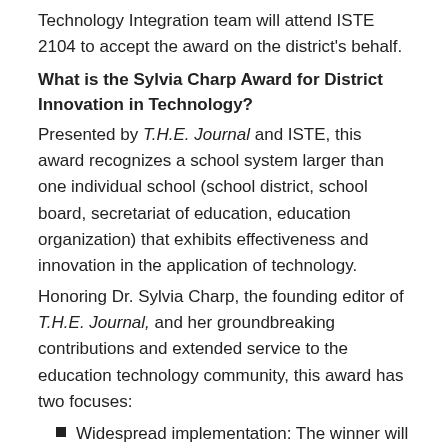Technology Integration team will attend ISTE 2104 to accept the award on the district's behalf.
What is the Sylvia Charp Award for District Innovation in Technology?
Presented by T.H.E. Journal and ISTE, this award recognizes a school system larger than one individual school (school district, school board, secretariat of education, education organization) that exhibits effectiveness and innovation in the application of technology.
Honoring Dr. Sylvia Charp, the founding editor of T.H.E. Journal, and her groundbreaking contributions and extended service to the education technology community, this award has two focuses:
Widespread implementation: The winner will ensure equitable and appropriate technology use for all